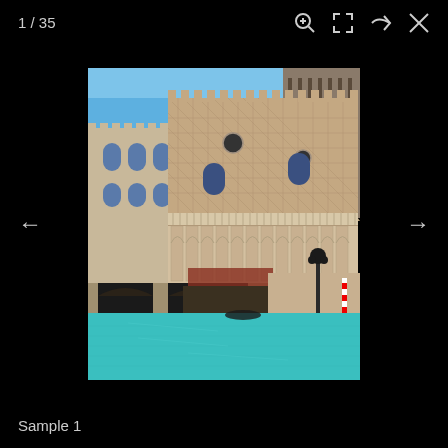1 / 35
[Figure (photo): Venetian hotel Las Vegas exterior with ornate Gothic-Venetian architecture, arched colonnades, diamond patterned facade, and turquoise canal water in foreground with gondola. Clear blue sky above.]
Sample 1